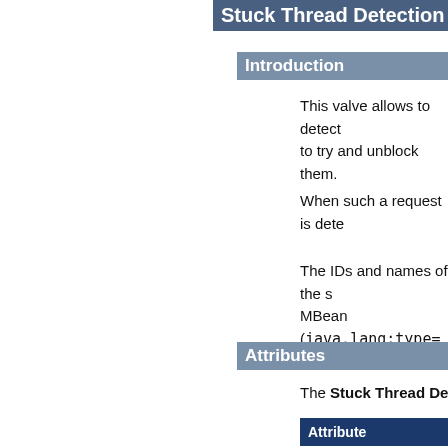Stuck Thread Detection Valve
Introduction
This valve allows to detect requests that take a long time to process, which might indicate that the thread that is processing it is stuck, and to optionally try and unblock them.
When such a request is detected, the information thread is logged.
The IDs and names of the stuck threads are accessible through the JMX MBean (java.lang:type=...
Attributes
The Stuck Thread Detection...
| Attribute |
| --- |
| className |
| threshold |
| interruptThreadThreshold |